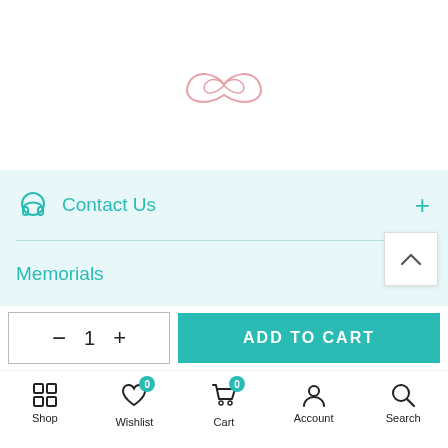[Figure (logo): Pink infinity loop / cursive logo symbol]
Contact Us
Memorials
ADD TO CART
Shop  Wishlist  Cart  Account  Search